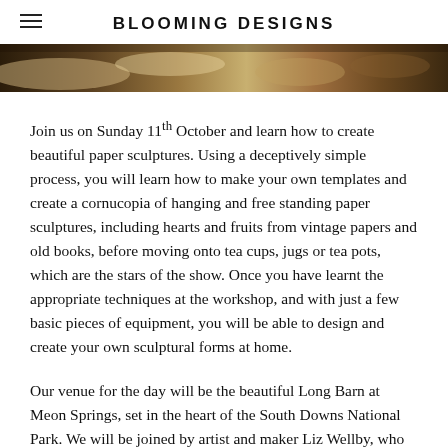BLOOMING DESIGNS
[Figure (photo): Partial image strip showing craft/workshop items on a table, including what appears to be paper, cups, and small objects, in warm brown and cream tones.]
Join us on Sunday 11th October and learn how to create beautiful paper sculptures. Using a deceptively simple process, you will learn how to make your own templates and create a cornucopia of hanging and free standing paper sculptures, including hearts and fruits from vintage papers and old books, before moving onto tea cups, jugs or tea pots, which are the stars of the show. Once you have learnt the appropriate techniques at the workshop, and with just a few basic pieces of equipment, you will be able to design and create your own sculptural forms at home.
Our venue for the day will be the beautiful Long Barn at Meon Springs, set in the heart of the South Downs National Park. We will be joined by artist and maker Liz Wellby, who lives and